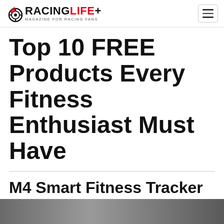RACINGLIFE+ MAGAZINE FOR RACING FANS
Top 10 FREE Products Every Fitness Enthusiast Must Have
M4 Smart Fitness Tracker
[Figure (photo): Photo strip at bottom of page showing a person, partially visible]